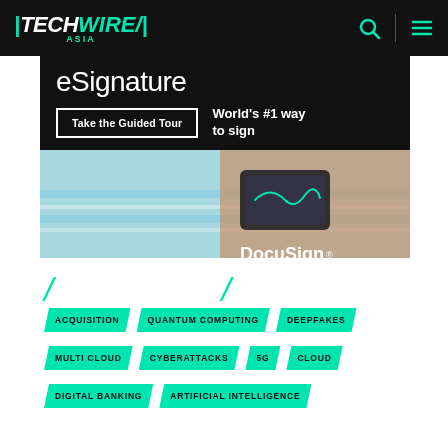TechWire Asia
[Figure (photo): DocuSign advertisement banner: eSignature - Take the Guided Tour - World's #1 way to sign, with photo of person signing on a mobile device while relaxing outdoors]
// //
ACQUISITION
QUANTUM COMPUTING
DEEPFAKES
MULTI CLOUD
CYBERATTACKS
5G
CLOUD
DIGITAL BANKING
ARTIFICIAL INTELLIGENCE